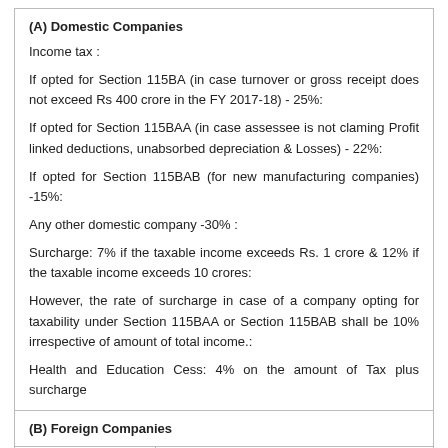(A) Domestic Companies
Income tax :
If opted for Section 115BA (in case turnover or gross receipt does not exceed Rs 400 crore in the FY 2017-18) - 25%:
If opted for Section 115BAA (in case assessee is not claming Profit linked deductions, unabsorbed depreciation & Losses) - 22%:
If opted for Section 115BAB (for new manufacturing companies) -15%:
Any other domestic company -30% :
Surcharge: 7% if the taxable income exceeds Rs. 1 crore & 12% if the taxable income exceeds 10 crores:
However, the rate of surcharge in case of a company opting for taxability under Section 115BAA or Section 115BAB shall be 10% irrespective of amount of total income.:
Health and Education Cess: 4% on the amount of Tax plus surcharge
(B) Foreign Companies
Income tax :
40% (in general )
50% (Royalty received from Government or an Indian concern in pursuance of an agreement made with the Indian concern after March 31, 1961, but before April 1, 1976, or fees for